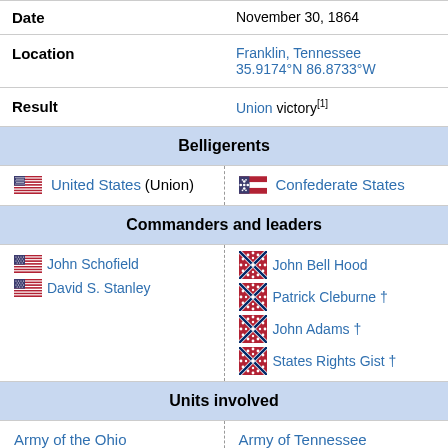| Field | Value |
| --- | --- |
| Date | November 30, 1864 |
| Location | Franklin, Tennessee
35.9174°N 86.8733°W |
| Result | Union victory[1] |
| Belligerents | United States (Union) | Confederate States |
| Commanders and leaders | John Schofield, David S. Stanley | John Bell Hood, Patrick Cleburne †, John Adams †, States Rights Gist † |
| Units involved | Army of the Ohio | Army of Tennessee |